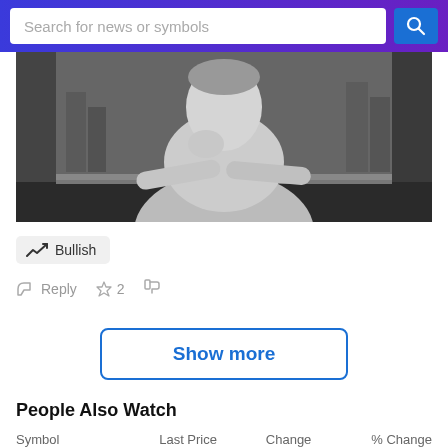Search for news or symbols
[Figure (photo): Black and white photo of a person sitting at a desk with hands clasped near face, thinking pose]
Bullish
Reply  2  (thumbs down)
Show more
People Also Watch
| Symbol | Last Price | Change | % Change |
| --- | --- | --- | --- |
| VRPX | 1.2600 | -0.1000 | -7.35% |